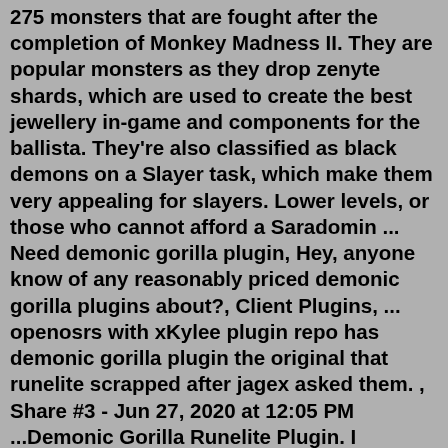275 monsters that are fought after the completion of Monkey Madness II. They are popular monsters as they drop zenyte shards, which are used to create the best jewellery in-game and components for the ballista. They're also classified as black demons on a Slayer task, which make them very appealing for slayers. Lower levels, or those who cannot afford a Saradomin ... Need demonic gorilla plugin, Hey, anyone know of any reasonably priced demonic gorilla plugins about?, Client Plugins, ... openosrs with xKylee plugin repo has demonic gorilla plugin the original that runelite scrapped after jagex asked them. , Share #3 - Jun 27, 2020 at 12:05 PM ...Demonic Gorilla Runelite Plugin. I recently saw a youtube video (i don't remember who it was from), but it showed them using a runelite plugin for demonic gorillas. It displayed the current attack style of the gorilla and visualised how many attacks until the gorilla switches attack styles. I wrote it down for later but couldn't end up ... Got a black demon task and thought I would share my gear set up, some tips